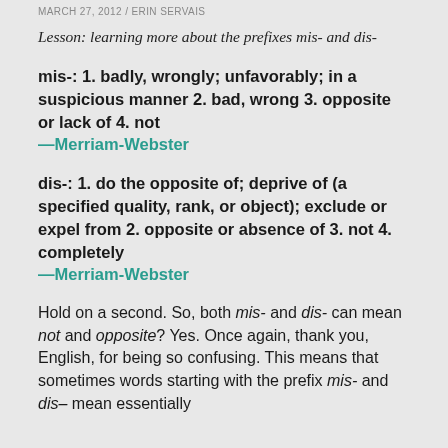MARCH 27, 2012 / ERIN SERVAIS
Lesson: learning more about the prefixes mis- and dis-
mis-: 1. badly, wrongly; unfavorably; in a suspicious manner 2. bad, wrong 3. opposite or lack of 4. not —Merriam-Webster
dis-: 1. do the opposite of; deprive of (a specified quality, rank, or object); exclude or expel from 2. opposite or absence of 3. not 4. completely —Merriam-Webster
Hold on a second. So, both mis- and dis- can mean not and opposite? Yes. Once again, thank you, English, for being so confusing. This means that sometimes words starting with the prefix mis- and dis– mean essentially